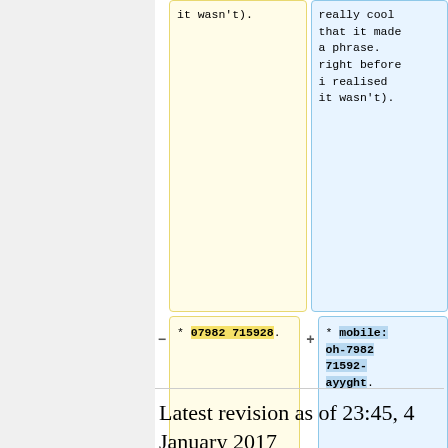it wasn't).
really cool that it made a phrase. right before i realised it wasn't).
* 07982 715928.
* mobile: oh-7982 71592-ayyght.
-- [[User:Kevinb456|Kevinb456]] 19:28, 29 November 2010 (UTC)
-- [[User:Kevinb456|Kevinb456]] 19:37, 29 November 2010 (UTC)
Latest revision as of 23:45, 4 January 2017